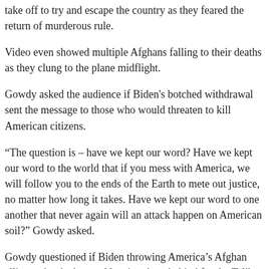take off to try and escape the country as they feared the return of murderous rule.
Video even showed multiple Afghans falling to their deaths as they clung to the plane midflight.
Gowdy asked the audience if Biden's botched withdrawal sent the message to those who would threaten to kill American citizens.
“The question is – have we kept our word? Have we kept our word to the world that if you mess with America, we will follow you to the ends of the Earth to mete out justice, no matter how long it takes. Have we kept our word to one another that never again will an attack happen on American soil?” Gowdy asked.
Gowdy questioned if Biden throwing America’s Afghan allies under the bus and leaving them behind for the Taliban would destroy the image of the United States in the eyes of Afghanistan.
“Have we kept our word to those who took a chance on us? To t